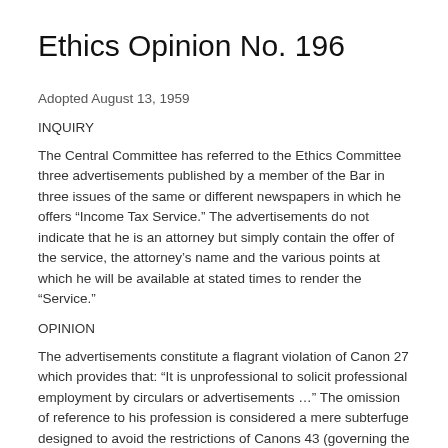Ethics Opinion No. 196
Adopted August 13, 1959
INQUIRY
The Central Committee has referred to the Ethics Committee three advertisements published by a member of the Bar in three issues of the same or different newspapers in which he offers “Income Tax Service.” The advertisements do not indicate that he is an attorney but simply contain the offer of the service, the attorney’s name and the various points at which he will be available at stated times to render the “Service.”
OPINION
The advertisements constitute a flagrant violation of Canon 27 which provides that: “It is unprofessional to solicit professional employment by circulars or advertisements …” The omission of reference to his profession is considered a mere subterfuge designed to avoid the restrictions of Canons 43 (governing the use of professional cards) and 46 (pertaining to “notice of